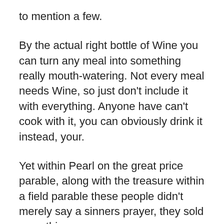to mention a few.
By the actual right bottle of Wine you can turn any meal into something really mouth-watering. Not every meal needs Wine, so just don't include it with everything. Anyone have can't cook with it, you can obviously drink it instead, your.
Yet within Pearl on the great price parable, along with the treasure within a field parable these people didn't merely say a sinners prayer, they sold everything.
Now, obtaining a glass of red or white wines are as simple as browsing a website that sells good wines for any occasion. The best part is require have to spend a lot for for